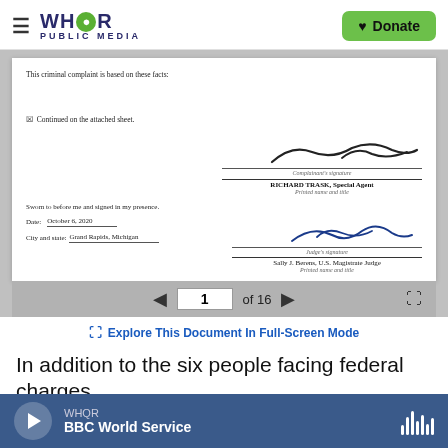WHQR PUBLIC MEDIA — Donate
[Figure (screenshot): Scanned court document page showing a criminal complaint signature page. Text reads: 'This criminal complaint is based on these facts.' Checkbox: 'Continued on the attached sheet.' Complainant signature of RICHARD TRASK, Special Agent. Sworn before: Date: October 6, 2020. City and state: Grand Rapids, Michigan. Judge signature: Sally J. Berens, U.S. Magistrate Judge. Document viewer showing page 1 of 16.]
Explore This Document In Full-Screen Mode
In addition to the six people facing federal charges,